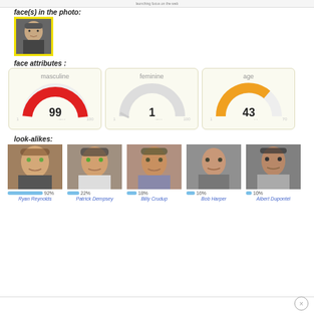launching focus on the web
face(s) in the photo:
[Figure (photo): Photo of a man's face with yellow border, detected face in the photo]
face attributes :
[Figure (infographic): Three gauge/dial charts showing masculine 99 (percent), feminine 1 (percent), age 43 (years old)]
look-alikes:
[Figure (photo): Ryan Reynolds face photo with 92% match bar]
[Figure (photo): Patrick Dempsey face photo with 22% match bar]
[Figure (photo): Billy Crudup face photo with 18% match bar]
[Figure (photo): Bob Harper face photo with 16% match bar]
[Figure (photo): Albert Dupontel face photo with 10% match bar]